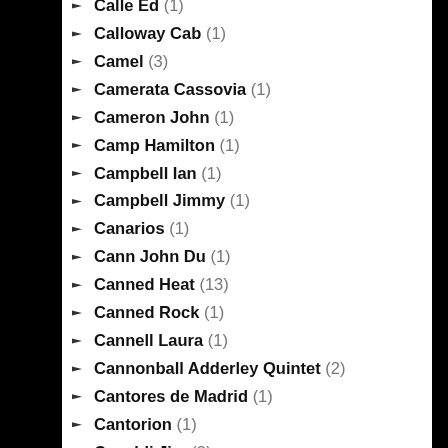Calle Ed (1)
Calloway Cab (1)
Camel (3)
Camerata Cassovia (1)
Cameron John (1)
Camp Hamilton (1)
Campbell Ian (1)
Campbell Jimmy (1)
Canarios (1)
Cann John Du (1)
Canned Heat (13)
Canned Rock (1)
Cannell Laura (1)
Cannonball Adderley Quintet (2)
Cantores de Madrid (1)
Cantorion (1)
Capaldi Jim (2)
Capirola Vincenzo (1)
Capitol Studios Orchestra (1)
Capon Jean-Charles (1)
Capossela Vinicio (1)
Cappelletti – Ottaviano Quartett (1)